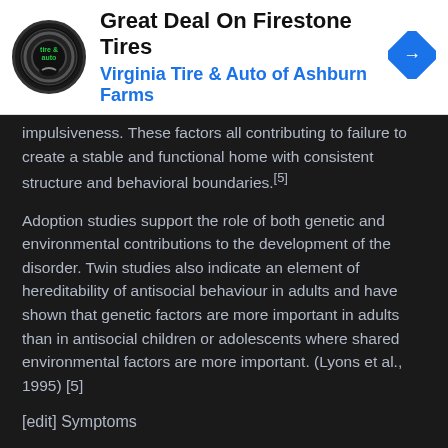[Figure (screenshot): Advertisement banner for Virginia Tire & Auto of Ashburn Farms featuring Firestone Tires deal, with circular logo on left and blue navigation arrow icon on right.]
impulsiveness. These factors all contributing to failure to create a stable and functional home with consistent structure and behavioral boundaries.[5]
Adoption studies support the role of both genetic and environmental contributions to the development of the disorder. Twin studies also indicate an element of hereditability of antisocial behaviour in adults and have shown that genetic factors are more important in adults than in antisocial children or adolescents where shared environmental factors are more important. (Lyons et al., 1995) [5]
[edit] Symptoms
Common characteristics of people with antisocial personality disorder include: